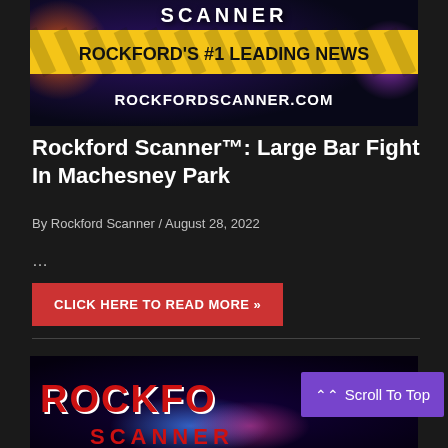[Figure (logo): Rockford Scanner banner image with yellow caution tape reading ROCKFORD'S #1 LEADING NEWS and ROCKFORDSCANNER.COM on dark purple/blue background]
Rockford Scanner™: Large Bar Fight In Machesney Park
By Rockford Scanner / August 28, 2022
…
CLICK HERE TO READ MORE »
[Figure (logo): Rockford Scanner logo on dark background with red text ROCKFORD SCANNER and police lights]